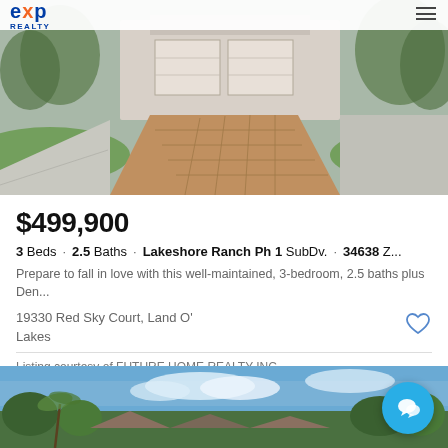eXp Realty
[Figure (photo): Street-level view of a residential driveway with brick pavers, concrete walkway, green lawn, and a house with garage in the background. Palm trees visible.]
$499,900
3 Beds · 2.5 Baths · Lakeshore Ranch Ph 1 SubDv. · 34638 Z...
Prepare to fall in love with this well-maintained, 3-bedroom, 2.5 baths plus Den...
19330 Red Sky Court, Land O' Lakes
Listing courtesy of FUTURE HOME REALTY INC.
[Figure (photo): Exterior photo of a residential home from the street, showing blue sky with clouds, palm trees, and neighborhood rooftops.]